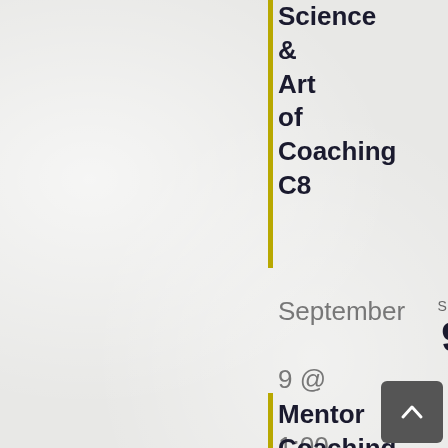Science & Art of Coaching C8
September 9 @ 1:00 pm – December 5 @ 3:00 pm
Mentor Coaching Group